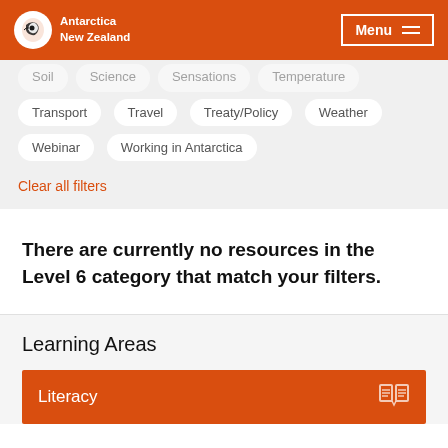Antarctica New Zealand
Transport
Travel
Treaty/Policy
Weather
Webinar
Working in Antarctica
Clear all filters
There are currently no resources in the Level 6 category that match your filters.
Learning Areas
Literacy